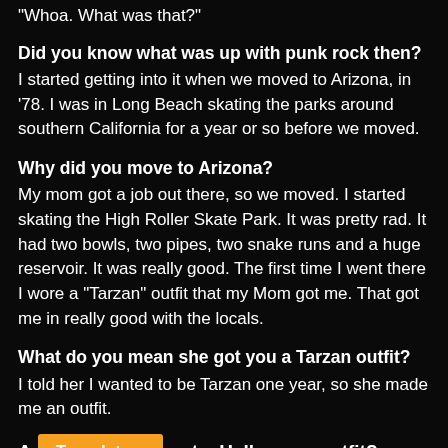“Whoa. What was that?”
Did you know what was up with punk rock then?
I started getting into it when we moved to Arizona, in ’78. I was in Long Beach skating the parks around southern California for a year or so before we moved.
Why did you move to Arizona?
My mom got a job out there, so we moved. I started skating the High Roller Skate Park. It was pretty rad. It had two bowls, two pipes, two snake runs and a huge reservoir. It was really good. The first time I went there I wore a “Tarzan” outfit that my Mom got me. That got me in really good with the locals.
What do you mean she got you a Tarzan outfit?
I told her I wanted to be Tarzan one year, so she made me an outfit.
A ... out a Halloween outfit?